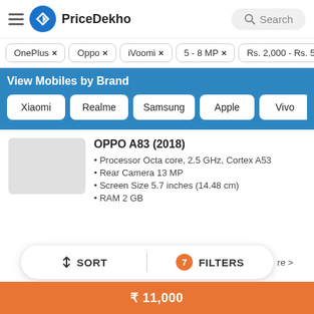PriceDekho
OnePlus ×
Oppo ×
iVoomi ×
5 - 8 MP ×
Rs. 2,000 - Rs. 5...
View Mobiles by Brand
Xiaomi
Realme
Samsung
Apple
Vivo
OPPO A83 (2018)
Processor Octa core, 2.5 GHz, Cortex A53
Rear Camera 13 MP
Screen Size 5.7 inches (14.48 cm)
RAM 2 GB
↕ SORT  |  7 FILTERS
₹ 11,000